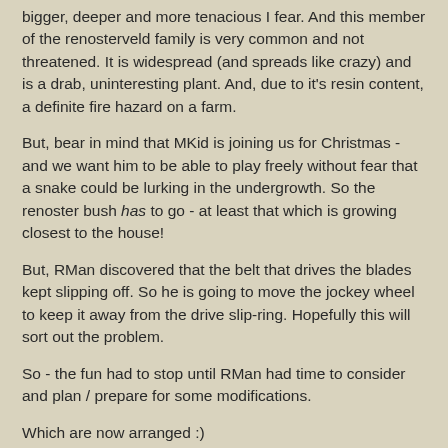bigger, deeper and more tenacious I fear.  And this member of the renosterveld family is very common and not threatened.  It is widespread (and spreads like crazy) and is a drab, uninteresting plant.  And, due to it's resin content, a definite fire hazard on a farm.
But, bear in mind that MKid is joining us for Christmas - and we want him to be able to play freely without fear that a snake could be lurking in the undergrowth.  So the renoster bush has to go - at least that which is growing closest to the house!
But, RMan discovered that the belt that drives the blades kept slipping off.  So he is going to move the jockey wheel to keep it away from the drive slip-ring. Hopefully this will sort out the problem.
So - the fun had to stop until RMan had time to consider and plan / prepare for some modifications.
Which are now arranged :)